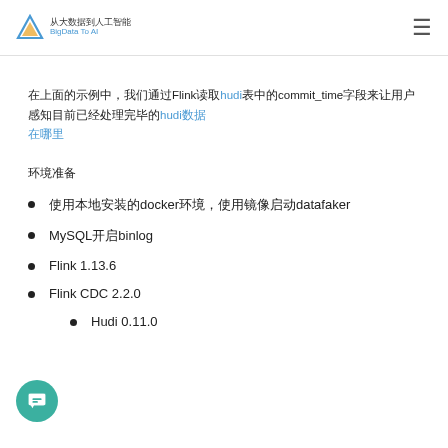从大数据到人工智能 BigData To AI
在上面的示例中，我们通过Flink读取hudi表中的commit_time字段来让用户感知目前已经处理完毕的hudi数据在哪里
环境准备
使用本地安装的docker环境，使用镜像启动datafaker
MySQL开启binlog
Flink 1.13.6
Flink CDC 2.2.0
Hudi 0.11.0